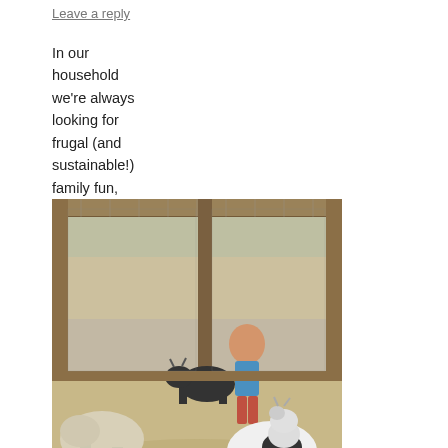Leave a reply
In our household we're always looking for frugal (and sustainable!) family fun, so I've had a few posts on the topic. But on the eve of a long holiday weekend with virtually no firm plans, here are some ideas I've been toying with:
[Figure (photo): A petting zoo scene with goats and other animals inside a wooden-framed wire enclosure. A woman in a blue top is crouching down interacting with a small black goat. A black-and-white goat is prominently visible in the foreground.]
Visit local kiddie amusement park with free petting